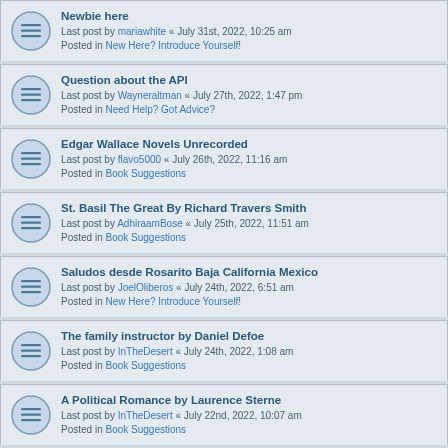Newbie here
Last post by mariawhite « July 31st, 2022, 10:25 am
Posted in New Here? Introduce Yourself!
Question about the API
Last post by Wayneraltman « July 27th, 2022, 1:47 pm
Posted in Need Help? Got Advice?
Edgar Wallace Novels Unrecorded
Last post by flavo5000 « July 26th, 2022, 11:16 am
Posted in Book Suggestions
St. Basil The Great By Richard Travers Smith
Last post by AdhiraamBose « July 25th, 2022, 11:51 am
Posted in Book Suggestions
Saludos desde Rosarito Baja California Mexico
Last post by JoelOliberos « July 24th, 2022, 6:51 am
Posted in New Here? Introduce Yourself!
The family instructor by Daniel Defoe
Last post by InTheDesert « July 24th, 2022, 1:08 am
Posted in Book Suggestions
A Political Romance by Laurence Sterne
Last post by InTheDesert « July 22nd, 2022, 10:07 am
Posted in Book Suggestions
The History and Adventures of an Atom by Tobias Smollett
Last post by InTheDesert « July 22nd, 2022, 10:04 am
Posted in Book Suggestions
The Fool of Quality by Henry Brooke